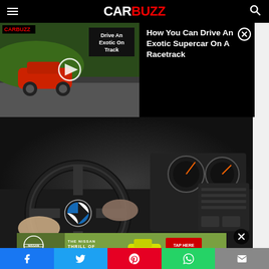CARBUZZ
[Figure (screenshot): CarBuzz video thumbnail showing a red Ferrari on a racetrack with overlay text 'Drive An Exotic On Track' and a play button]
How You Can Drive An Exotic Supercar On A Racetrack
[Figure (photo): Interior view of a BMW showing hands on the steering wheel with dashboard gauges visible]
[Figure (photo): Nissan advertisement banner showing a yellow Nissan Z sports car with text 'THE NISSAN THRILL OF THE DRIVE EVENT', 'TAP HERE' button, and 'THE ALL NEW 2023 NISSAN Z']
Facebook, Twitter, Pinterest, WhatsApp, Email share buttons